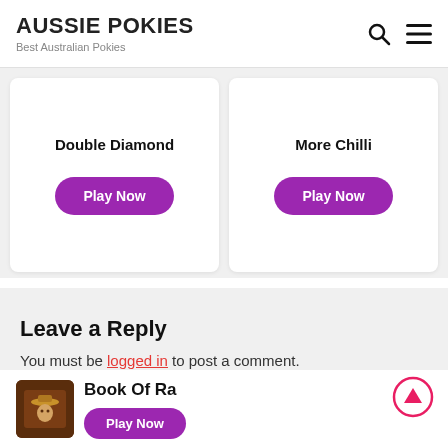AUSSIE POKIES — Best Australian Pokies
Double Diamond — Play Now
More Chilli — Play Now
Leave a Reply
You must be logged in to post a comment.
Book Of Ra